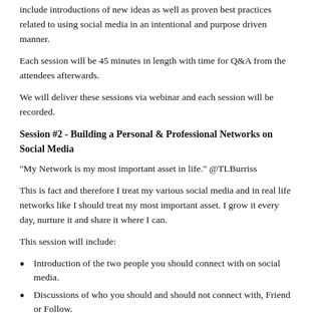include introductions of new ideas as well as proven best practices related to using social media in an intentional and purpose driven manner.
Each session will be 45 minutes in length with time for Q&A from the attendees afterwards.
We will deliver these sessions via webinar and each session will be recorded.
Session #2 - Building a Personal & Professional Networks on Social Media
“My Network is my most important asset in life.” @TLBurriss
This is fact and therefore I treat my various social media and in real life networks like I should treat my most important asset. I grow it every day, nurture it and share it where I can.
This session will include:
Introduction of the two people you should connect with on social media.
Discussions of who you should and should not connect with, Friend or Follow.
How to get introduced to people you may want to connect with.